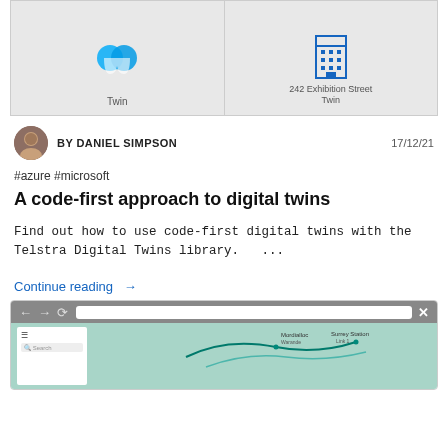[Figure (screenshot): Two gray panels showing digital twin icons: left panel has a blue twin/person icon with label 'Twin', right panel has a building icon labeled '242 Exhibition Street Twin']
BY DANIEL SIMPSON   17/12/21
#azure #microsoft
A code-first approach to digital twins
Find out how to use code-first digital twins with the Telstra Digital Twins library.   ...
Continue reading  →
[Figure (screenshot): Browser window showing a map application with green background, navigation controls, search bar, and a map with route lines and station labels]